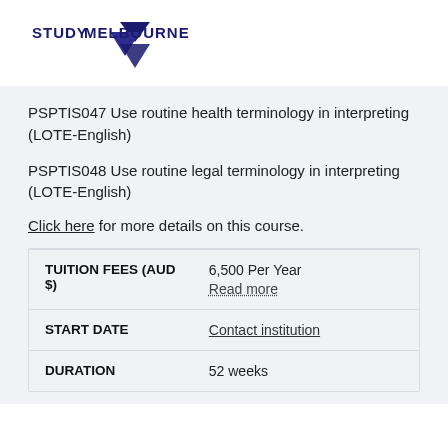[Figure (logo): Study Melbourne logo with dark blue triangle/chevron shape and bold text STUDY MELBOURNE]
PSPTIS047 Use routine health terminology in interpreting (LOTE-English)
PSPTIS048 Use routine legal terminology in interpreting (LOTE-English)
Click here for more details on this course.
| TUITION FEES (AUD $) | 6,500 Per Year
Read more |
| START DATE | Contact institution |
| DURATION | 52 weeks |